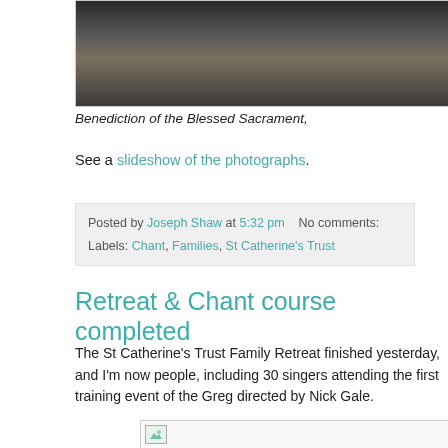[Figure (photo): Photograph showing people kneeling, partial view cropped at top of page — Benediction of the Blessed Sacrament]
Benediction of the Blessed Sacrament,
See a slideshow of the photographs.
Posted by Joseph Shaw at 5:32 pm   No comments:
Labels: Chant, Families, St Catherine's Trust
Retreat & Chant course completed
The St Catherine's Trust Family Retreat finished yesterday, and I'm now people, including 30 singers attending the first training event of the Greg directed by Nick Gale.
[Figure (photo): Partially loaded image placeholder at bottom of page]